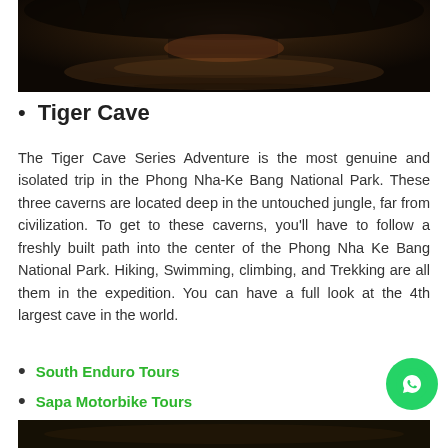[Figure (photo): Interior of a cave with people silhouetted near a reflective pool, dark cave walls visible]
Tiger Cave
The Tiger Cave Series Adventure is the most genuine and isolated trip in the Phong Nha-Ke Bang National Park. These three caverns are located deep in the untouched jungle, far from civilization. To get to these caverns, you'll have to follow a freshly built path into the center of the Phong Nha Ke Bang National Park. Hiking, Swimming, climbing, and Trekking are all them in the expedition. You can have a full look at the 4th largest cave in the world.
South Enduro Tours
Sapa Motorbike Tours
Vietnam Motorcycle Trips Near Hanoi City
[Figure (photo): Bottom portion of another cave interior photo, dark tones]